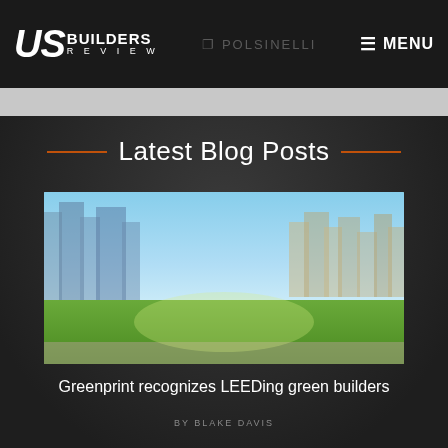US BUILDERS REVIEW | POLSINELLI | MENU
Latest Blog Posts
[Figure (photo): US Builders Review Greenprint Editor's Choice 2017 badge overlaid on cityscape with green lawn]
Greenprint recognizes LEEDing green builders
BY BLAKE DAVIS